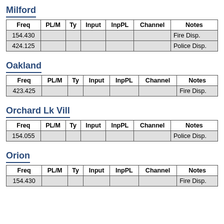Milford
| Freq | PL/M | Ty | Input | InpPL | Channel | Notes |
| --- | --- | --- | --- | --- | --- | --- |
| 154.430 |  |  |  |  |  | Fire Disp. |
| 424.125 |  |  |  |  |  | Police Disp. |
Oakland
| Freq | PL/M | Ty | Input | InpPL | Channel | Notes |
| --- | --- | --- | --- | --- | --- | --- |
| 423.425 |  |  |  |  |  | Fire Disp. |
Orchard Lk Vill
| Freq | PL/M | Ty | Input | InpPL | Channel | Notes |
| --- | --- | --- | --- | --- | --- | --- |
| 154.055 |  |  |  |  |  | Police Disp. |
Orion
| Freq | PL/M | Ty | Input | InpPL | Channel | Notes |
| --- | --- | --- | --- | --- | --- | --- |
| 154.430 |  |  |  |  |  | Fire Disp. |